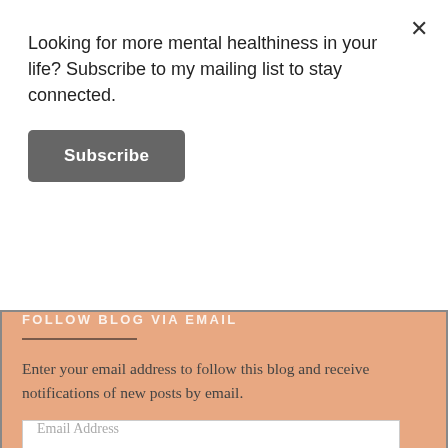Looking for more mental healthiness in your life? Subscribe to my mailing list to stay connected.
Subscribe
FOLLOW BLOG VIA EMAIL
Enter your email address to follow this blog and receive notifications of new posts by email.
Email Address
FOLLOW